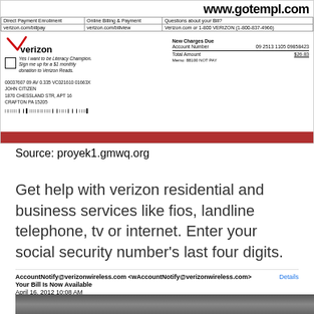[Figure (screenshot): Verizon bill/statement showing account info, address for JOHN CITIZEN at 1870 CHESSLAND STR, APT 16, CRAFTON PA 15205, with a red bar at the bottom. URL www.gotempl.com visible at top right.]
Source: proyek1.gmwq.org
Get help with verizon residential and business services like fios, landline telephone, tv or internet. Enter your social security number's last four digits.
AccountNotify@verizonwireless.com <wAccountNotify@verizonwireless.com> Details
Your Bill Is Now Available
April 16, 2012 10:08 AM
[Figure (photo): Bottom strip photo, appears to be a dark/grey photographic image]